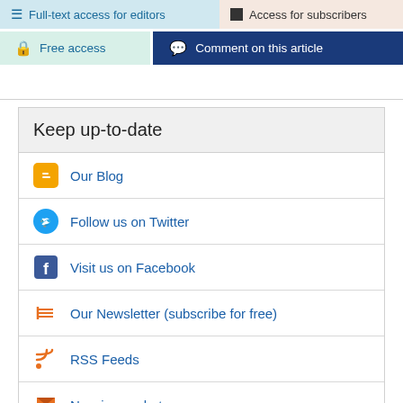Full-text access for editors
Access for subscribers
Free access
Comment on this article
Keep up-to-date
Our Blog
Follow us on Twitter
Visit us on Facebook
Our Newsletter (subscribe for free)
RSS Feeds
New issue alerts